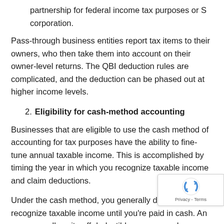partnership for federal income tax purposes or S corporation.
Pass-through business entities report tax items to their owners, who then take them into account on their owner-level returns. The QBI deduction rules are complicated, and the deduction can be phased out at higher income levels.
2. Eligibility for cash-method accounting
Businesses that are eligible to use the cash method of accounting for tax purposes have the ability to fine-tune annual taxable income. This is accomplished by timing the year in which you recognize taxable income and claim deductions.
Under the cash method, you generally don't have to recognize taxable income until you're paid in cash. An can generally write off deductible expenses when you them in cash or with a credit card.